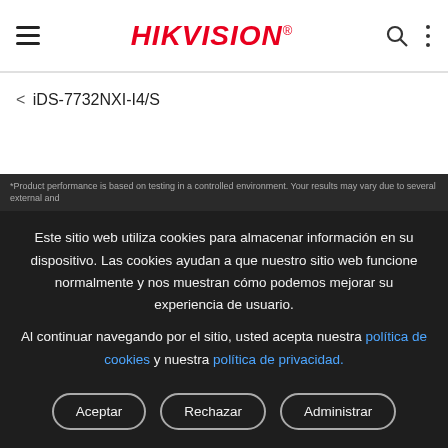HIKVISION
< iDS-7732NXI-I4/S
*Product performance is based on testing in a controlled environment. Your results may vary due to several external and
Este sitio web utiliza cookies para almacenar información en su dispositivo. Las cookies ayudan a que nuestro sitio web funcione normalmente y nos muestran cómo podemos mejorar su experiencia de usuario.
Al continuar navegando por el sitio, usted acepta nuestra política de cookies y nuestra política de privacidad.
Aceptar
Rechazar
Administrar